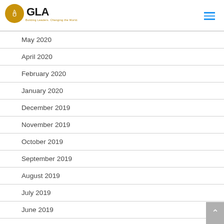GLA — Building Leaders. Changing the World.
May 2020
April 2020
February 2020
January 2020
December 2019
November 2019
October 2019
September 2019
August 2019
July 2019
June 2019
May 2019